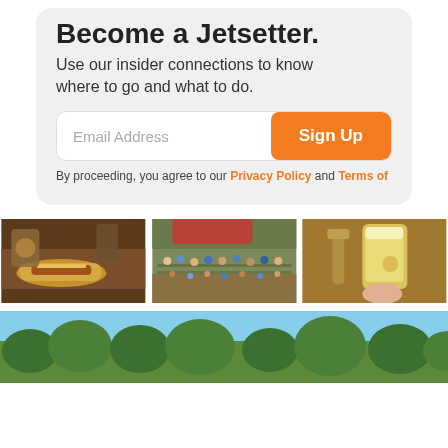Become a Jetsetter.
Use our insider connections to know where to go and what to do.
[Figure (screenshot): Email signup form with email address input field and orange Sign Up button]
By proceeding, you agree to our Privacy Policy and Terms of
[Figure (photo): Three photos side by side: hot dog with beer, outdoor beer garden crowd, hand holding beer glass at tap]
[Figure (photo): Wide landscape photo showing trees against blue sky]